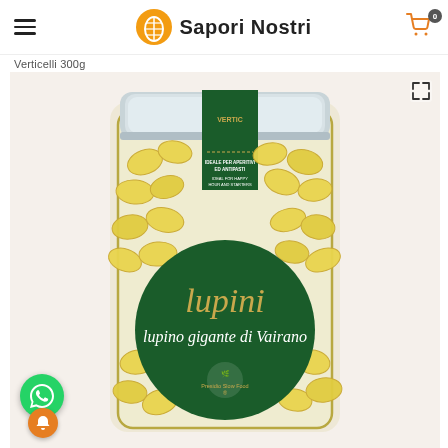Sapori Nostri
Verticelli 300g
[Figure (photo): A glass jar filled with lupini beans (lupino gigante di Vairano). The jar has a silver metallic lid, a dark green vertical band label reading 'VERTIC...' at top, a small label reading 'IDEALE PER APERITIVI ED ANTIPASTI / IDEAL FOR HAPPY HOUR AND STARTERS', and a large round dark green label in the center reading 'lupini / lupino gigante di Vairano' in gold/yellow italic script, with a Presidio Slow Food logo at the bottom of the round label.]